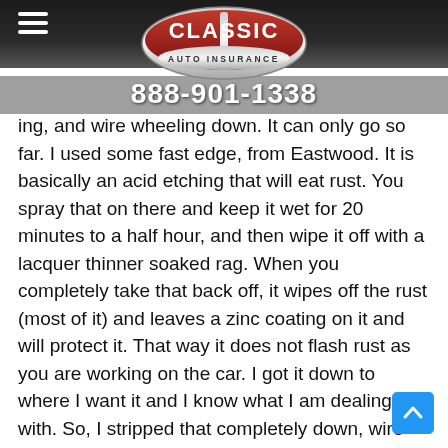Classic Auto Insurance — 888-901-1338
[Figure (logo): Classic Auto Insurance logo — red and silver badge shape with 'CLASSIC' in white text and 'AUTO INSURANCE' below in silver on dark background]
ing, and wire wheeling down. It can only go so far. I used some fast edge, from Eastwood. It is basically an acid etching that will eat rust. You spray that on there and keep it wet for 20 minutes to a half hour, and then wipe it off with a lacquer thinner soaked rag. When you completely take that back off, it wipes off the rust (most of it) and leaves a zinc coating on it and will protect it. That way it does not flash rust as you are working on the car. I got it down to where I want it and I know what I am dealing with. So, I stripped that completely down, wire wheeled it, assessed it, and I am ready to move on to the next step.